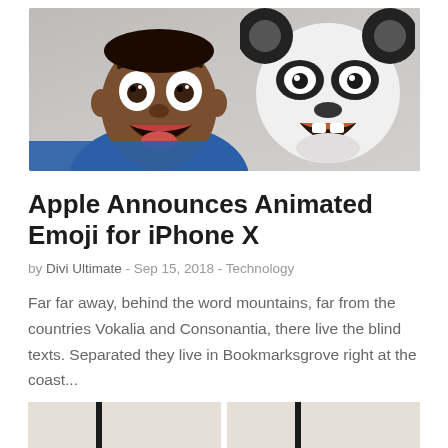[Figure (photo): Photo of a surprised Black man in a blue t-shirt next to an animated panda emoji with mouth open, both with wide eyes and surprised expressions, on a light gray background.]
Apple Announces Animated Emoji for iPhone X
by Divi Ultimate - Sep 15, 2018 - Technology
Far far away, behind the word mountains, far from the countries Vokalia and Consonantia, there live the blind texts. Separated they live in Bookmarksgrove right at the coast...
[Figure (photo): Bottom portion of what appears to be another article image, showing black vertical bars against a light beige/white background — two separate thumbnail images side by side.]